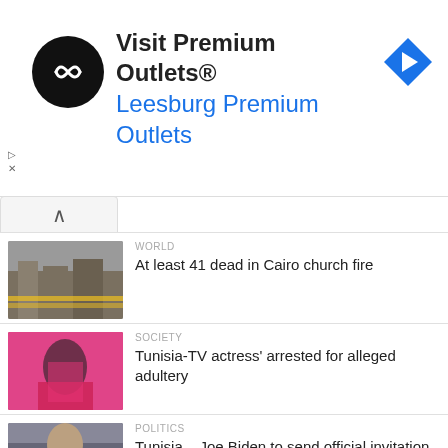[Figure (screenshot): Advertisement banner: circular black logo with infinity-style arrows, text 'Visit Premium Outlets®' and 'Leesburg Premium Outlets' in blue, blue diamond navigation arrow icon on right]
[Figure (photo): News thumbnail: street scene with yellow police tape, Cairo church fire]
WORLD
At least 41 dead in Cairo church fire
[Figure (photo): News thumbnail: woman in pink clothing, Tunisia TV actress story]
SOCIETY
Tunisia-TV actress' arrested for alleged adultery
[Figure (photo): News thumbnail: older man in suit, politics story about Joe Biden and Kais Saied]
POLITICS
Tunisia – Joe Biden to send official invitation to Kaïs Saïed